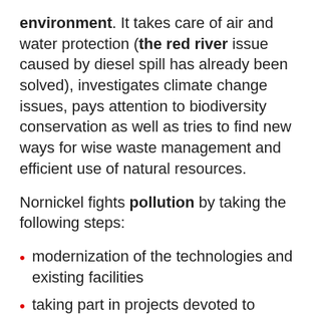environment. It takes care of air and water protection (the red river issue caused by diesel spill has already been solved), investigates climate change issues, pays attention to biodiversity conservation as well as tries to find new ways for wise waste management and efficient use of natural resources.
Nornickel fights pollution by taking the following steps:
modernization of the technologies and existing facilities
taking part in projects devoted to biodiversity conservation
participating in the discussions about climate change issues and global warming processes